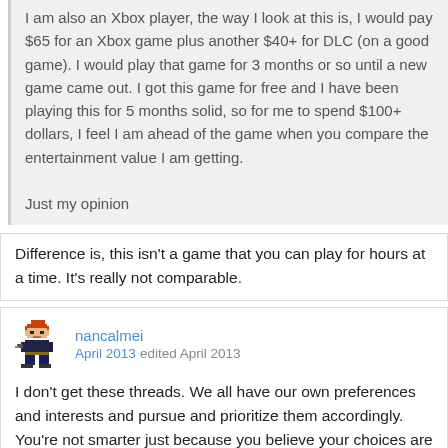I am also an Xbox player, the way I look at this is, I would pay $65 for an Xbox game plus another $40+ for DLC (on a good game). I would play that game for 3 months or so until a new game came out. I got this game for free and I have been playing this for 5 months solid, so for me to spend $100+ dollars, I feel I am ahead of the game when you compare the entertainment value I am getting.

Just my opinion
Difference is, this isn't a game that you can play for hours at a time. It's really not comparable.
nancalmei
April 2013 edited April 2013
I don't get these threads. We all have our own preferences and interests and pursue and prioritize them accordingly. You're not smarter just because you believe your choices are better than those someone you've never even met has made.